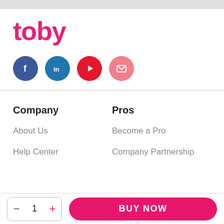[Figure (logo): Toby brand logo in bold pink/magenta text]
[Figure (infographic): Social media icons: Facebook (blue), LinkedIn (blue), YouTube (red), Email (pink)]
Company
Pros
About Us
Become a Pro
Help Center
Company Partnership
− 1 + BUY NOW